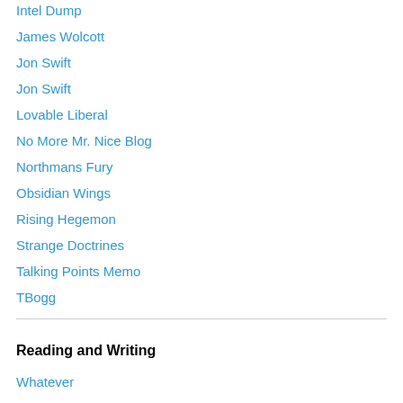Intel Dump
James Wolcott
Jon Swift
Jon Swift
Lovable Liberal
No More Mr. Nice Blog
Northmans Fury
Obsidian Wings
Rising Hegemon
Strange Doctrines
Talking Points Memo
TBogg
Reading and Writing
Whatever
You Don't Say